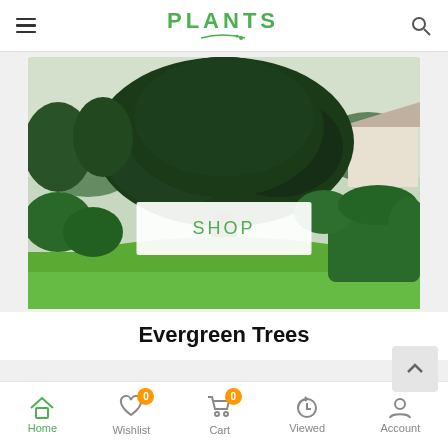PLANTS
[Figure (photo): Large evergreen tree with full canopy over a manicured green lawn with trimmed hedges]
SHOP
Evergreen Trees
[Figure (photo): Yellow and red tropical flowers (plumeria/frangipani)]
Home  Wishlist  Cart  Viewed  Account